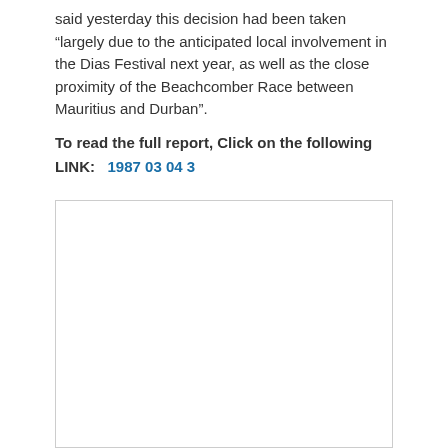said yesterday this decision had been taken “largely due to the anticipated local involvement in the Dias Festival next year, as well as the close proximity of the Beachcomber Race between Mauritius and Durban”.
To read the full report, Click on the following LINK:   1987 03 04 3
[Figure (other): Empty white rectangle with a light gray border, representing a placeholder image or document scan area.]